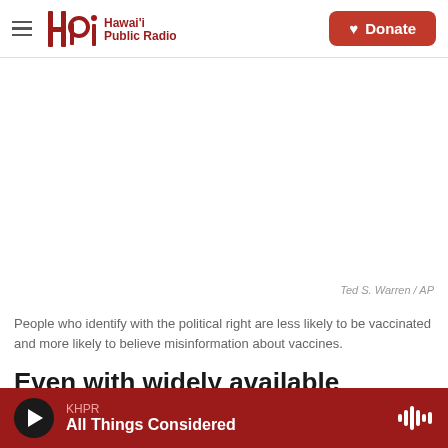Hawai'i Public Radio | Donate
[Figure (photo): Blank/white image area representing a photograph. Photo credit: Ted S. Warren / AP]
People who identify with the political right are less likely to be vaccinated and more likely to believe misinformation about vaccines.
Even with widely available vaccines and newly
KHPR | All Things Considered